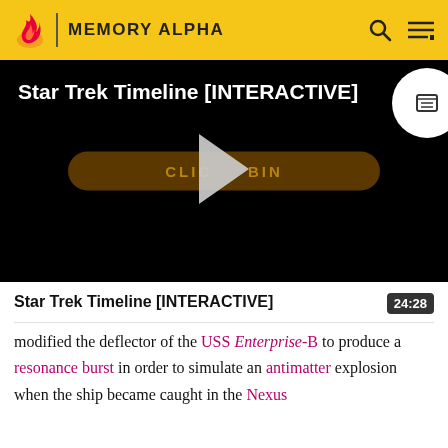MEMORY ALPHA
[Figure (screenshot): Video thumbnail with black background showing title 'Star Trek Timeline [INTERACTIVE]' and a golden 'CLICK TO BEGIN' button with a play triangle overlay]
Star Trek Timeline [INTERACTIVE]
modified the deflector of the USS Enterprise-B to produce a resonance burst in order to simulate an antimatter explosion when the ship became caught in the Nexus